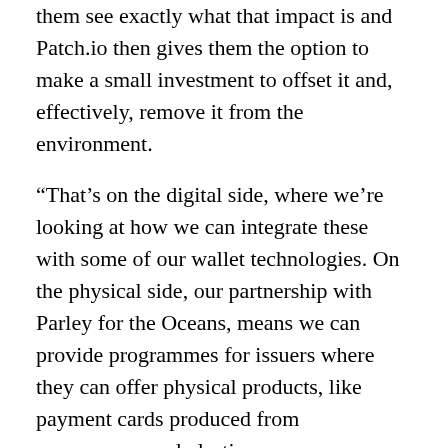them see exactly what that impact is and Patch.io then gives them the option to make a small investment to offset it and, effectively, remove it from the environment.
“That’s on the digital side, where we’re looking at how we can integrate these with some of our wallet technologies. On the physical side, our partnership with Parley for the Oceans, means we can provide programmes for issuers where they can offer physical products, like payment cards produced from ocean-recovered plastics.
“Five grams of reclaimed plastic for each card doesn’t sound like a lot,” says Gatiragas, “but it’s really symbolic of the more…” [continues]